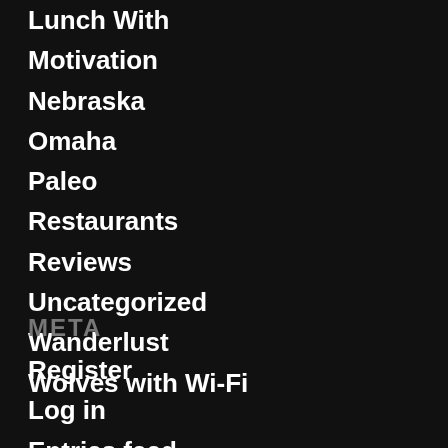Lunch With
Motivation
Nebraska
Omaha
Paleo
Restaurants
Reviews
Uncategorized
Wanderlust
Wolves with Wi-Fi
META
Register
Log in
Entries feed